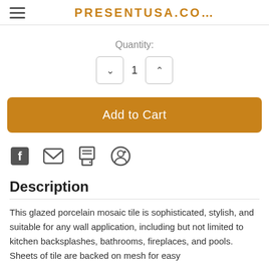PRESENTUSA.CO…
Quantity:
1
Add to Cart
[Figure (illustration): Social share icons: Facebook, Email, Print, Pinterest]
Description
This glazed porcelain mosaic tile is sophisticated, stylish, and suitable for any wall application, including but not limited to kitchen backsplashes, bathrooms, fireplaces, and pools. Sheets of tile are backed on mesh for easy